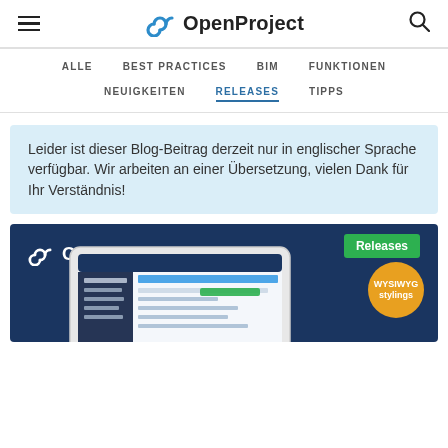≡ OpenProject 🔍
ALLE
BEST PRACTICES
BIM
FUNKTIONEN
NEUIGKEITEN
RELEASES
TIPPS
Leider ist dieser Blog-Beitrag derzeit nur in englischer Sprache verfügbar. Wir arbeiten an einer Übersetzung, vielen Dank für Ihr Verständnis!
[Figure (screenshot): OpenProject 11.1 banner with tablet showing WYSIWYG stylings badge and Releases badge on dark blue background]